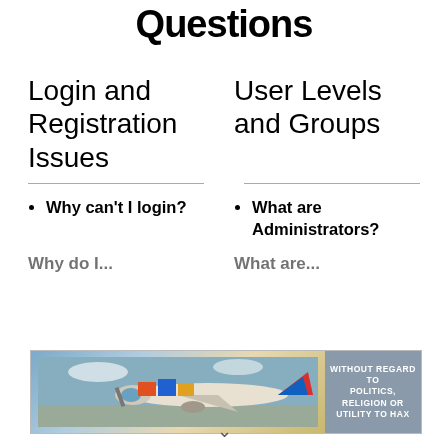Questions
Login and Registration Issues
User Levels and Groups
Why can't I login?
What are Administrators?
Why do I...
What are...
[Figure (photo): Advertisement banner showing cargo being loaded onto an airplane, with text 'WITHOUT REGARD TO POLITICS, RELIGION OR UTILITY TO HAX']